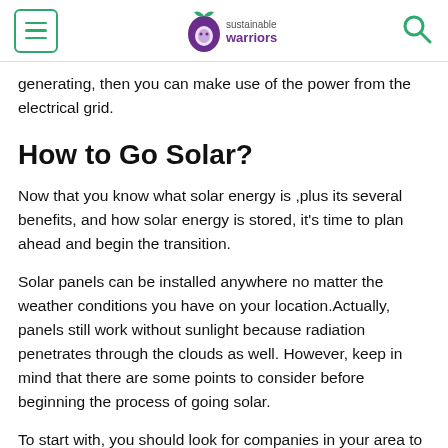sustainable warriors
generating, then you can make use of the power from the electrical grid.
How to Go Solar?
Now that you know what solar energy is ,plus its several benefits, and how solar energy is stored, it's time to plan ahead and begin the transition.
Solar panels can be installed anywhere no matter the weather conditions you have on your location.Actually, panels still work without sunlight because radiation penetrates through the clouds as well. However, keep in mind that there are some points to consider before beginning the process of going solar.
To start with, you should look for companies in your area to